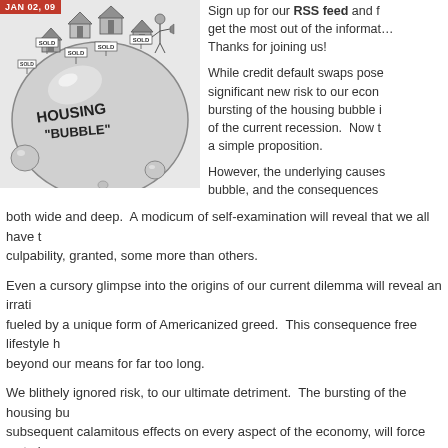[Figure (illustration): Black and white cartoon illustration of a housing bubble — a large soap bubble with 'HOUSING BUBBLE' written on it, topped with houses showing SOLD signs, with a date badge reading JAN 02, 09 in red.]
Sign up for our RSS feed and get the most out of the information. Thanks for joining us!
While credit default swaps posed a significant new risk to our economy, the bursting of the housing bubble is the root of the current recession. Now that is a simple proposition.
However, the underlying causes of the bubble, and the consequences are both wide and deep. A modicum of self-examination will reveal that we all have culpability, granted, some more than others.
Even a cursory glimpse into the origins of our current dilemma will reveal an irrational exuberance fueled by a unique form of Americanized greed. This consequence free lifestyle has us living beyond our means for far too long.
We blithely ignored risk, to our ultimate detriment. The bursting of the housing bubble and subsequent calamitous effects on every aspect of the economy, will force us to look at the way we conduct our financial affairs. Today we examine the origins and effects...